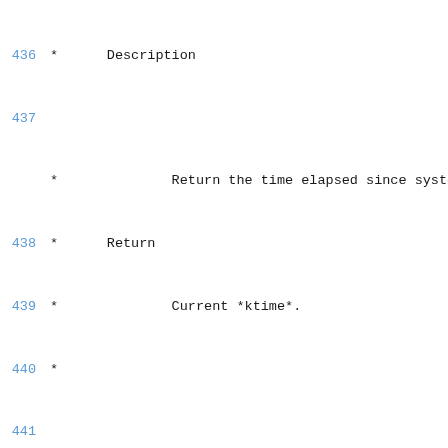Code listing lines 436-451 showing BPF helper function documentation comments including bpf_ktime_get_ns and bpf_trace_printk descriptions.